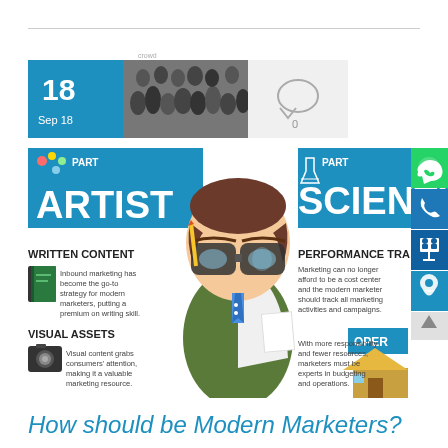[Figure (infographic): Infographic showing a cartoon marketer character split between 'Part Artist' (left, blue panel) and 'Part Scientist' (right, blue panel) with sections for Written Content, Visual Assets, Performance Tracking, and Operations. Date badge showing '18 Sep 18' with crowd photo and comment count 0. Social media icons (WhatsApp, phone, screen/presentation, location) on right edge.]
How should be Modern Marketers?